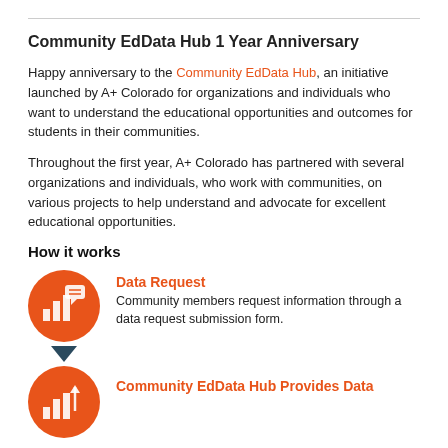Community EdData Hub 1 Year Anniversary
Happy anniversary to the Community EdData Hub, an initiative launched by A+ Colorado for organizations and individuals who want to understand the educational opportunities and outcomes for students in their communities.
Throughout the first year, A+ Colorado has partnered with several organizations and individuals, who work with communities, on various projects to help understand and advocate for excellent educational opportunities.
How it works
[Figure (infographic): Orange circle icon with bar chart and speech bubble symbols representing Data Request step]
Data Request
Community members request information through a data request submission form.
[Figure (infographic): Dark blue downward arrow connector between steps]
[Figure (infographic): Orange circle icon with bar chart symbol representing Community EdData Hub Provides Data step]
Community EdData Hub Provides Data